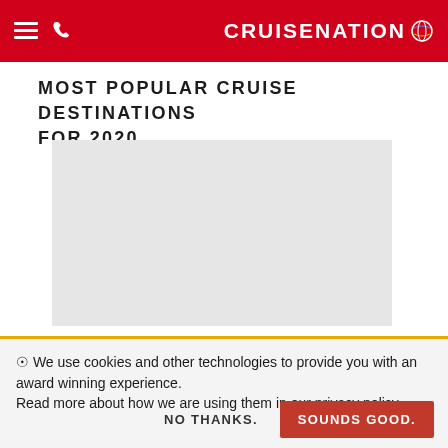CRUISENATION
MOST POPULAR CRUISE DESTINATIONS FOR 2020
[Figure (photo): Light grey image placeholder rectangle for cruise destination photo]
We use cookies and other technologies to provide you with an award winning experience. Read more about how we are using them in our privacy policy.
NO THANKS.    SOUNDS GOOD.